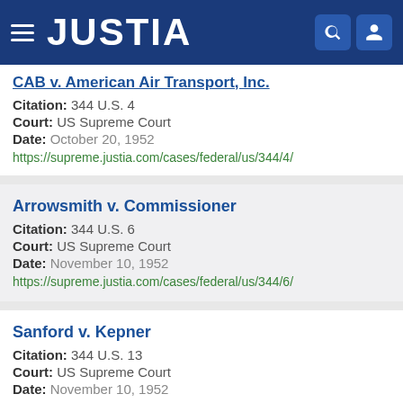JUSTIA
CAB v. American Air Transport, Inc.
Citation: 344 U.S. 4
Court: US Supreme Court
Date: October 20, 1952
https://supreme.justia.com/cases/federal/us/344/4/
Arrowsmith v. Commissioner
Citation: 344 U.S. 6
Court: US Supreme Court
Date: November 10, 1952
https://supreme.justia.com/cases/federal/us/344/6/
Sanford v. Kepner
Citation: 344 U.S. 13
Court: US Supreme Court
Date: November 10, 1952